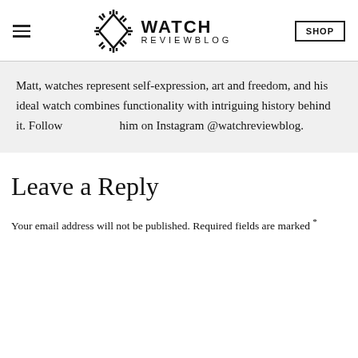WATCH REVIEWBLOG | SHOP
Matt, watches represent self-expression, art and freedom, and his ideal watch combines functionality with intriguing history behind it. Follow him on Instagram @watchreviewblog.
Leave a Reply
Your email address will not be published. Required fields are marked *